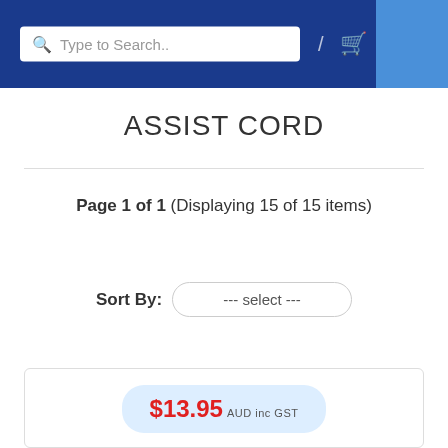Type to Search..
ASSIST CORD
Page 1 of 1   (Displaying 15 of 15 items)
Sort By:  --- select ---
$13.95 AUD inc GST